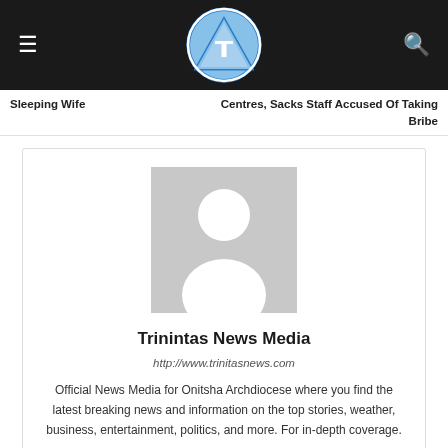Sleeping Wife | Centres, Sacks Staff Accused Of Taking Bribe
[Figure (logo): Trinintas News Media logo — triangle with letter T inside a circle, blue and white]
Trinintas News Media
http://www.trinitasnews.com
Official News Media for Onitsha Archdiocese where you find the latest breaking news and information on the top stories, weather, business, entertainment, politics, and more. For in-depth coverage.